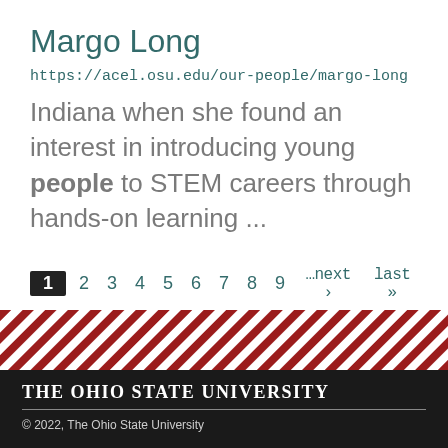Margo Long
https://acel.osu.edu/our-people/margo-long
Indiana when she found an interest in introducing young people to STEM careers through hands-on learning ...
1 2 3 4 5 6 7 8 9 …next › last »
[Figure (illustration): Diagonal red and white stripe decorative band]
The Ohio State University
© 2022, The Ohio State University